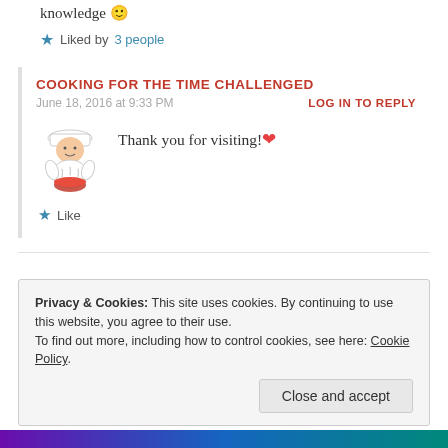knowledge 🙂
★ Liked by 3 people
COOKING FOR THE TIME CHALLENGED
June 18, 2016 at 9:33 PM
LOG IN TO REPLY
[Figure (illustration): Chef avatar illustration holding a bowl]
Thank you for visiting! ❤
★ Like
Privacy & Cookies: This site uses cookies. By continuing to use this website, you agree to their use.
To find out more, including how to control cookies, see here: Cookie Policy
Close and accept